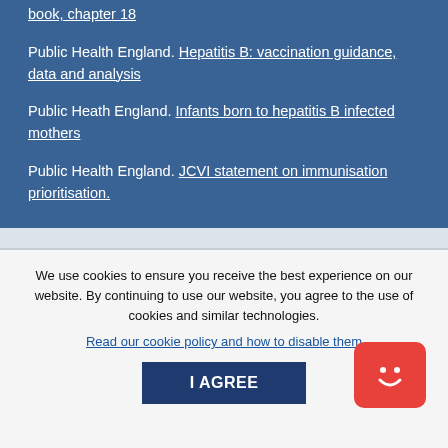book, chapter 18
Public Health England. Hepatitis B: vaccination guidance, data and analysis
Public Heath England. Infants born to hepatitis B infected mothers
Public Health England. JCVI statement on immunisation prioritisation.
We use cookies to ensure you receive the best experience on our website. By continuing to use our website, you agree to the use of cookies and similar technologies.
Read our cookie policy and how to disable them
I AGREE